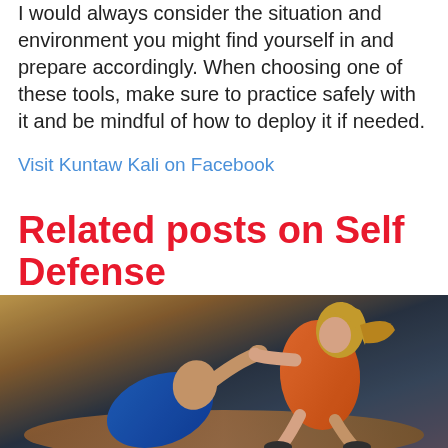I would always consider the situation and environment you might find yourself in and prepare accordingly. When choosing one of these tools, make sure to practice safely with it and be mindful of how to deploy it if needed.
Visit Kuntaw Kali on Facebook
Related posts on Self Defense
[Figure (photo): A woman in an orange athletic top performing a self-defense strike against a bald man in a blue shirt, in a martial arts training setting with dark blue background.]